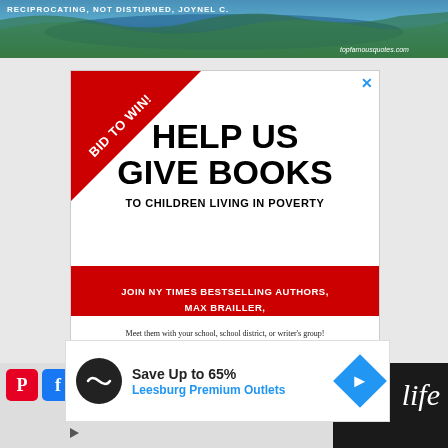[Figure (photo): Aerial landscape photo of blue water river/lake with green hills, with text 'topfamousquotes.com' watermark]
[Figure (infographic): Advertisement banner: 'BID TO WIN!' ribbon in top-left corner. White section with 'HELP US GIVE BOOKS TO CHILDREN LIVING IN POVERTY'. Red section with 'JOIN NY TIMES BESTSELLING AUTHORS, MAX BRAILLER, CHRISTOPHER PAOLINI JENNIFER NIELSEN, & MORE!!!'. White bottom with 'Meet them with your school, school district, or writer's group! Proceeds give FREE books to children living in poverty.']
[Figure (infographic): Overlay ad: 'Save Up to 65% Leesburg Premium Outlets' with circular logo and blue arrow icon]